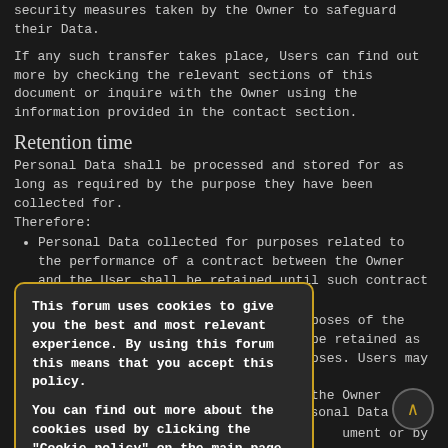security measures taken by the Owner to safeguard their Data.
If any such transfer takes place, Users can find out more by checking the relevant sections of this document or inquire with the Owner using the information provided in the contact section.
Retention time
Personal Data shall be processed and stored for as long as required by the purpose they have been collected for.
Therefore:
Personal Data collected for purposes related to the performance of a contract between the Owner and the User shall be retained until such contract has been fully performed.
Personal Data collected for the purposes of the Owner's legitimate interests shall be retained as long as needed to fulfill such purposes. Users may find specific information pursued by the Owner within ument or by contacting the
The ... sonal Data for a longer period whe ... o such processing, as long as s ... ermore, the Owner may be obli ... ger period whenever requ ... of a legal obligation or upon orde...
[Figure (other): Cookie consent popup overlay with text: 'This forum uses cookies to give you the best and most relevant experience. By using this forum this means that you accept this policy. You can find out more about the cookies used by clicking the "Cookie policy" on the main page.' with an [ I accept ] button.]
Once the retention period expires, Personal Data shall be deleted.